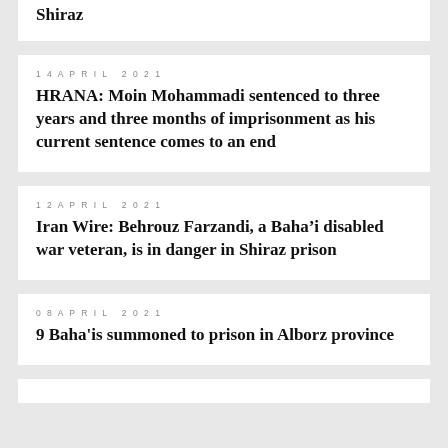Shiraz
14 APRIL 2021
HRANA: Moin Mohammadi sentenced to three years and three months of imprisonment as his current sentence comes to an end
12 APRIL 2021
Iran Wire: Behrouz Farzandi, a Baha’i disabled war veteran, is in danger in Shiraz prison
08 APRIL 2021
9 Baha'is summoned to prison in Alborz province